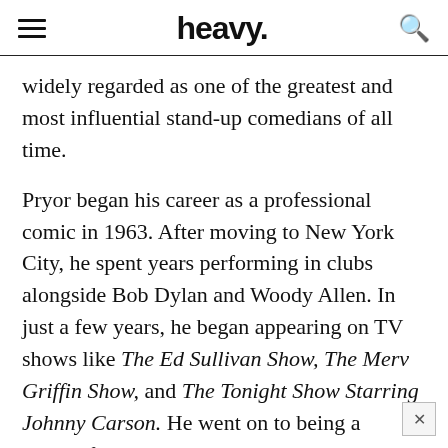heavy.
widely regarded as one of the greatest and most influential stand-up comedians of all time.
Pryor began his career as a professional comic in 1963. After moving to New York City, he spent years performing in clubs alongside Bob Dylan and Woody Allen. In just a few years, he began appearing on TV shows like The Ed Sullivan Show, The Merv Griffin Show, and The Tonight Show Starring Johnny Carson. He went on to being a successful comic in Las Vegas.